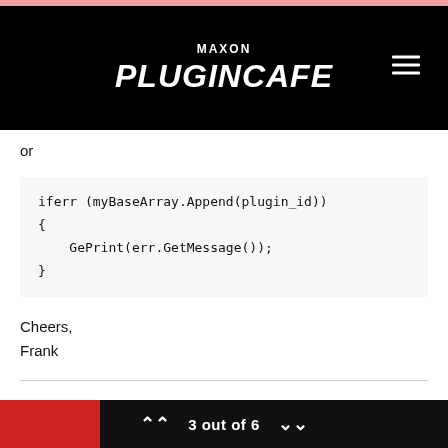MAXON PLUGINCAFE
or
Cheers,
Frank
Jan 21, 2021, 5:10 PM  ♡ 0
3 out of 6